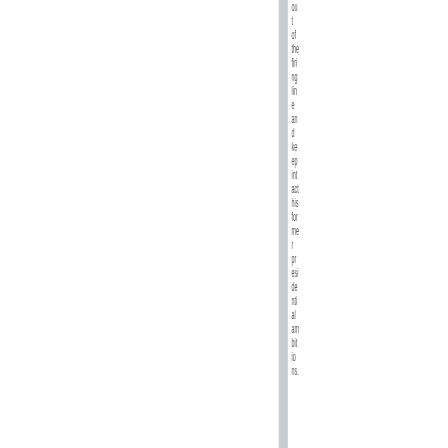out of the firing line and keep intact his former presidential ambitions.